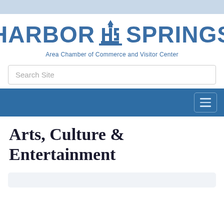[Figure (logo): Harbor Springs Area Chamber of Commerce and Visitor Center logo with lighthouse icon between HARBOR and SPRINGS text]
Search Site
[Figure (other): Navigation bar with hamburger menu icon]
Arts, Culture & Entertainment